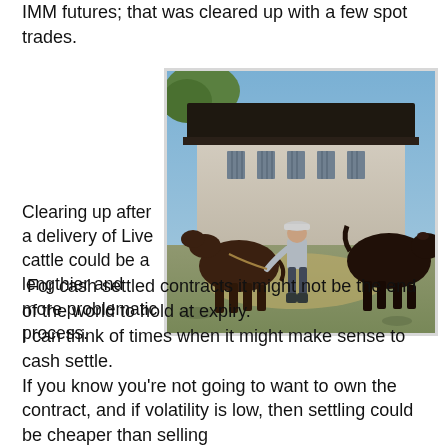IMM futures; that was cleared up with a few spot trades.
[Figure (photo): A farmer or rancher leading live cattle outside a traditional Japanese-style building with a dark tiled roof. The man is bent forward pulling a rope attached to a brown cow, with another dark cow visible on the right. The scene is outdoors on a sunny day.]
Clearing up after a delivery of Live cattle could be a lengthier and more problematic process.
For cash settled contracts it might not be the end of the world to hold at expiry.
I can think of times when it might make sense to cash settle.
If you know you're not going to want to own the contract, and if volatility is low, then settling could be cheaper than selling